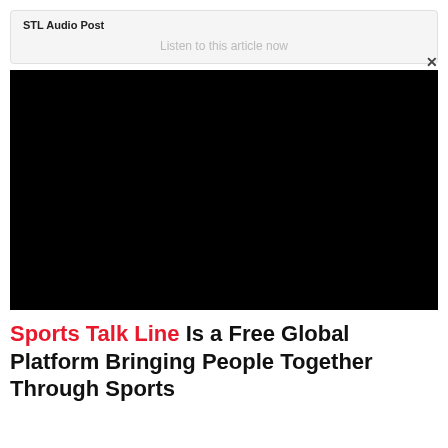STL Audio Post
Listen to this article now
[Figure (other): Black video player rectangle with an X close button in the top right corner]
Sports Talk Line Is a Free Global Platform Bringing People Together Through Sports